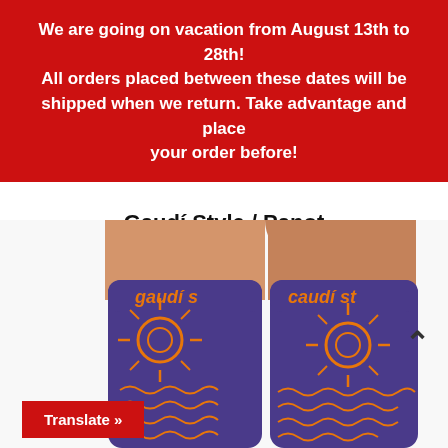We are going on vacation from August 13th to 28th! All orders placed between these dates will be shipped when we return. Take advantage and place your order before!
Gaudí Style / Panot
12,00€
[Figure (photo): Two legs wearing purple and orange patterned socks with 'Gaudi Style' text and Gaudi-inspired panot tile decorative motifs]
Translate »